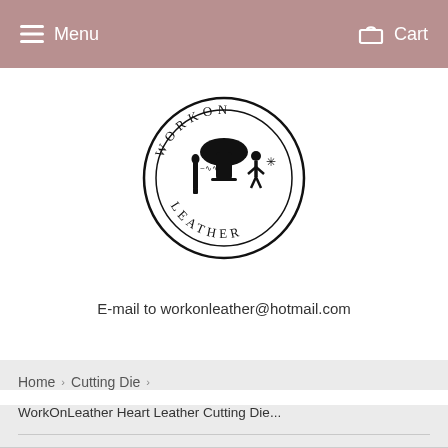Menu   Cart
[Figure (logo): WorkOnLeather circular logo with mushroom and leather tools, text reading WORKON LEATHER around the border]
E-mail to workonleather@hotmail.com
Home › Cutting Die ›
WorkOnLeather Heart Leather Cutting Die...